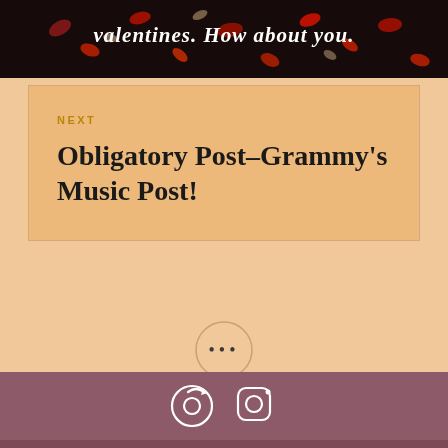[Figure (photo): Dark background with rose petals and heart-shaped confetti scattered, with italic bold white text reading 'valentines. How about you.']
NEXT
Obligatory Post-Grammy's Music Post!
[Figure (other): Circle with three dots (...) separator icon]
Portfolio
instagram
[Figure (other): Dark mauve footer bar with two icons: a circular arrow/record icon and an Instagram camera icon]